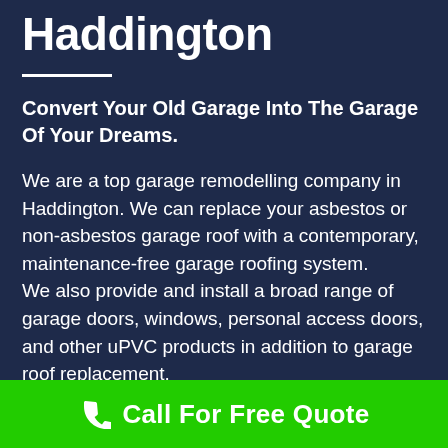Haddington
Convert Your Old Garage Into The Garage Of Your Dreams.
We are a top garage remodelling company in Haddington. We can replace your asbestos or non-asbestos garage roof with a contemporary, maintenance-free garage roofing system. We also provide and install a broad range of garage doors, windows, personal access doors, and other uPVC products in addition to garage roof replacement.
Call For Free Quote